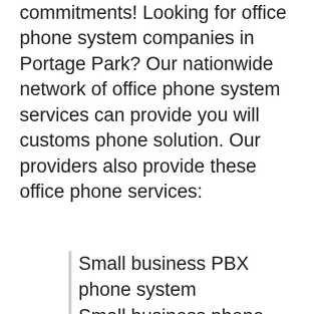commitments! Looking for office phone system companies in Portage Park? Our nationwide network of office phone system services can provide you will customs phone solution. Our providers also provide these office phone services:
Small business PBX phone system
Small business phone service in Portage Park
Phone systems small business
Business VoIP service in Portage Park
Portage Park business phone service
VoIP solutions
Analog PBX phone systems
Phone system for sale
Business phone service providers
Small business VoIP
Portage Park business phone solutions